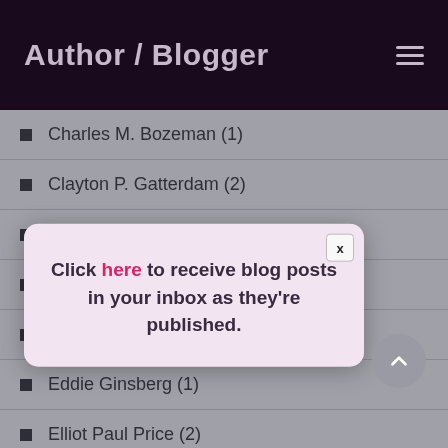Author / Blogger
Charles M. Bozeman (1)
Clayton P. Gatterdam (2)
Clifford Sykes (1)
Connie Immerm…
Dewey D'Angelo…
Eddie Ginsberg (1)
Elliot Paul Price (2)
Estelle Carey (1)
Click here to receive blog posts in your inbox as they're published.